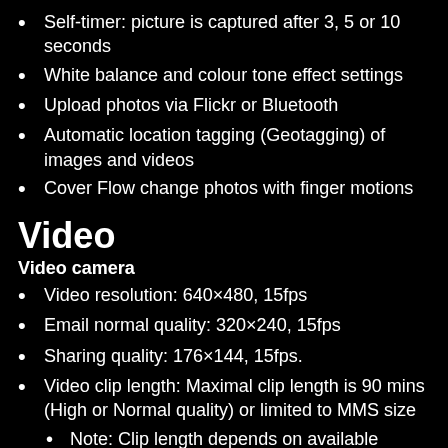Self-timer: picture is captured after 3, 5 or 10 seconds
White balance and colour tone effect settings
Upload photos via Flickr or Bluetooth
Automatic location tagging (Geotagging) of images and videos
Cover Flow change photos with finger motions
Video
Video camera
Video resolution: 640×480, 15fps
Email normal quality: 320×240, 15fps
Sharing quality: 176×144, 15fps.
Video clip length: Maximal clip length is 90 mins (High or Normal quality) or limited to MMS size
Note: Clip length depends on available memory